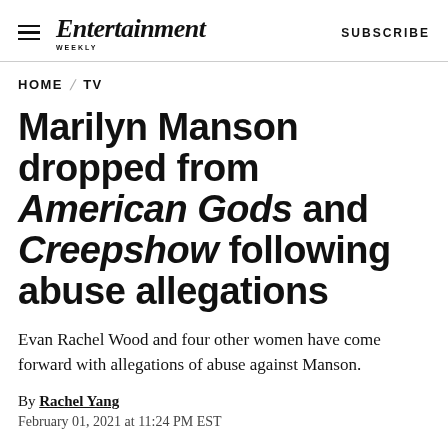Entertainment Weekly — SUBSCRIBE
HOME / TV
Marilyn Manson dropped from American Gods and Creepshow following abuse allegations
Evan Rachel Wood and four other women have come forward with allegations of abuse against Manson.
By Rachel Yang
February 01, 2021 at 11:24 PM EST